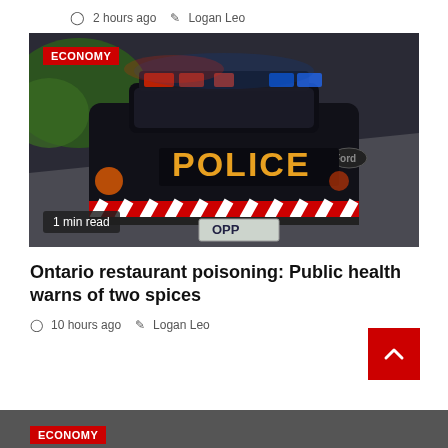2 hours ago   Logan Leo
[Figure (photo): OPP police car from behind on a road, with flashing red and blue lights. Red and white diagonal stripes on the rear bumper. License plate reads OPP. ECONOMY badge in top-left corner. '1 min read' badge at bottom-left.]
Ontario restaurant poisoning: Public health warns of two spices
10 hours ago   Logan Leo